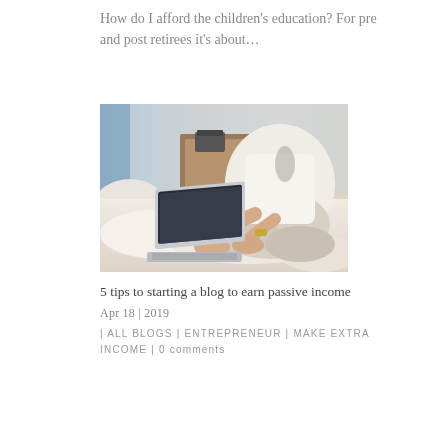How do I afford the children's education? For pre and post retirees it's about...
[Figure (photo): A woman sitting cross-legged on a bed, working on a laptop. She is wearing a white cardigan and light-colored pants, with a gold watch on her wrist. A telephone and furniture are visible in the background.]
5 tips to starting a blog to earn passive income
Apr 18 | 2019
| ALL BLOGS | ENTREPRENEUR | MAKE EXTRA INCOME | 0 comments